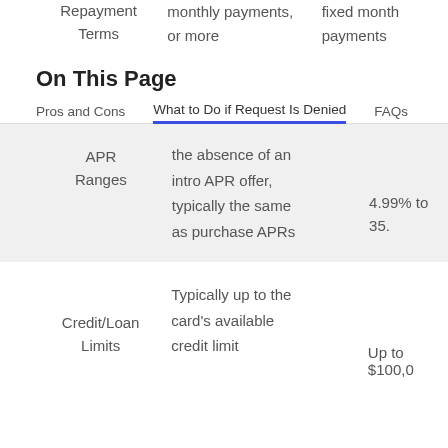|  |  |  |
| --- | --- | --- |
| Repayment Terms | monthly payments, or more | fixed month payments |
| APR Ranges | the absence of an intro APR offer, typically the same as purchase APRs | 4.99% to 35. |
| Credit/Loan Limits | Typically up to the card's available credit limit | Up to $100,0 |
On This Page
Pros and Cons   What to Do if Request Is Denied   FAQs